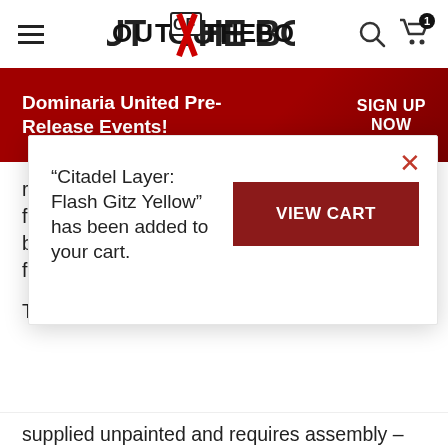[Figure (logo): Out of the Box store logo with hamburger menu, search icon, and cart icon showing 1 item]
Dominaria United Pre-Release Events! SIGN UP NOW
regiments from the battlefield with a casual flick of his massive wrist, while foes are burned to ash by blazing tempests of draconic fire.
This multipart plastic kit is comprised of 55
“Citadel Layer: Flash Gitz Yellow” has been added to your cart.
supplied unpainted and requires assembly –